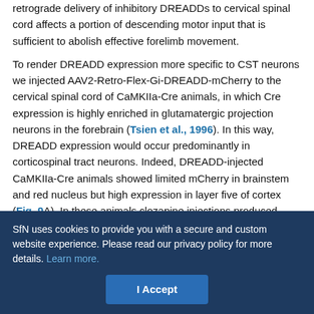retrograde delivery of inhibitory DREADDs to cervical spinal cord affects a portion of descending motor input that is sufficient to abolish effective forelimb movement.
To render DREADD expression more specific to CST neurons we injected AAV2-Retro-Flex-Gi-DREADD-mCherry to the cervical spinal cord of CaMKIIa-Cre animals, in which Cre expression is highly enriched in glutamatergic projection neurons in the forebrain (Tsien et al., 1996). In this way, DREADD expression would occur predominantly in corticospinal tract neurons. Indeed, DREADD-injected CaMKIIa-Cre animals showed limited mCherry in brainstem and red nucleus but high expression in layer five of cortex (Fig. 9A). In these animals clozapine injections produced none of the paralysis seen previously and no changes in plantar placement (Fig. 9C).
SfN uses cookies to provide you with a secure and custom website experience. Please read our privacy policy for more details. Learn more.